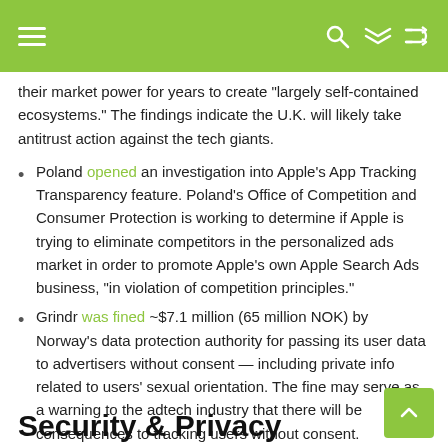≡  [search] [shuffle]
their market power for years to create "largely self-contained ecosystems." The findings indicate the U.K. will likely take antitrust action against the tech giants.
Poland opened an investigation into Apple's App Tracking Transparency feature. Poland's Office of Competition and Consumer Protection is working to determine if Apple is trying to eliminate competitors in the personalized ads market in order to promote Apple's own Apple Search Ads business, "in violation of competition principles."
Grindr was fined ~$7.1 million (65 million NOK) by Norway's data protection authority for passing its user data to advertisers without consent — including private info related to users' sexual orientation. The fine may serve as a warning to the adtech industry that there will be consequences to tracking users without consent.
Security & Privacy